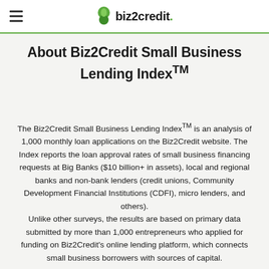biz2credit
About Biz2Credit Small Business Lending Index™
The Biz2Credit Small Business Lending Index™ is an analysis of 1,000 monthly loan applications on the Biz2Credit website. The Index reports the loan approval rates of small business financing requests at Big Banks ($10 billion+ in assets), local and regional banks and non-bank lenders (credit unions, Community Development Financial Institutions (CDFI), micro lenders, and others).
Unlike other surveys, the results are based on primary data submitted by more than 1,000 entrepreneurs who applied for funding on Biz2Credit's online lending platform, which connects small business borrowers with sources of capital.